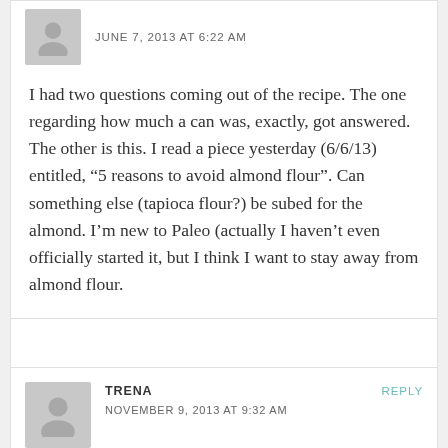JUNE 7, 2013 AT 6:22 AM
I had two questions coming out of the recipe. The one regarding how much a can was, exactly, got answered. The other is this. I read a piece yesterday (6/6/13) entitled, “5 reasons to avoid almond flour”. Can something else (tapioca flour?) be subed for the almond. I’m new to Paleo (actually I haven’t even officially started it, but I think I want to stay away from almond flour.
TRENA
NOVEMBER 9, 2013 AT 9:32 AM